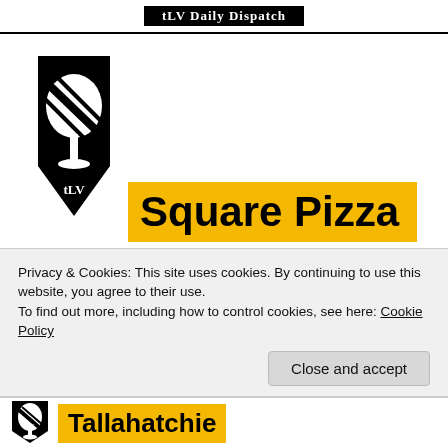tLV Daily Dispatch
[Figure (logo): TLV logo: wine glass with diagonal stripes on shield, with 'tLV' text at base]
Square Pizza
1101 Van Buren Ave. – 662.234.9333 – view menu
4–11 pm: dine-in or carry out.
Privacy & Cookies: This site uses cookies. By continuing to use this website, you agree to their use.
To find out more, including how to control cookies, see here: Cookie Policy
Close and accept
Tallahatchie